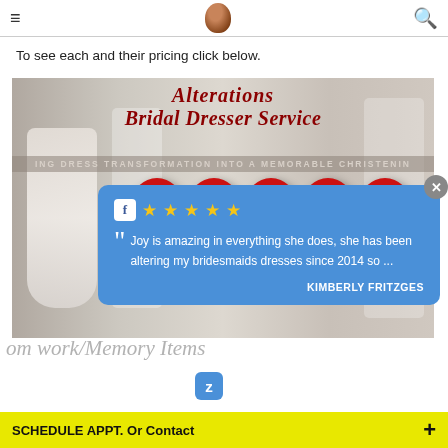≡  [logo]  🔍
To see each and their pricing click below.
[Figure (screenshot): Promotional image for bridal alteration services showing wedding dresses in background with text 'Alterations Bridal Dresser Service' and subtitle 'WEDDING DRESS TRANSFORMATION INTO A MEMORABLE CHRISTENING'. Social media icons (Facebook, Twitter, Pinterest, Instagram, LinkedIn) shown as red circles.]
[Figure (screenshot): Review card on blue background with Facebook icon and 5 gold stars. Quote: 'Joy is amazing in everything she does, she has been altering my bridesmaids dresses since 2014 so ...' by KIMBERLY FRITZGES]
om work/Memory Items
SCHEDULE APPT. Or Contact +